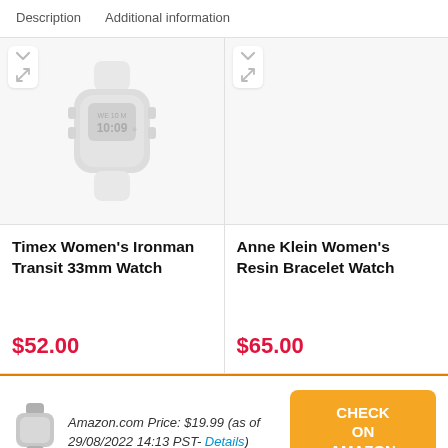Description   Additional information
[Figure (photo): Timex women's digital watch (white/light grey, square face showing WE 10 M, 10:09)]
Timex Women's Ironman Transit 33mm Watch
$52.00
[Figure (photo): Anne Klein Women's Resin Bracelet Watch product image placeholder (right column)]
Anne Klein Women's Resin Bracelet Watch
$65.00
[Figure (photo): Small watch thumbnail image in footer]
Amazon.com Price: $19.99 (as of 29/08/2022 14:13 PST- Details)
CHECK ON AMAZON